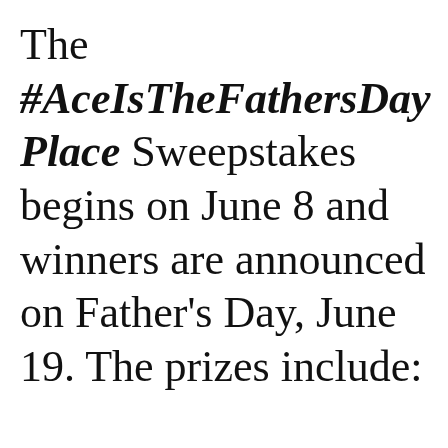The #AceIsTheFathersDay Place Sweepstakes begins on June 8 and winners are announced on Father's Day, June 19. The prizes include: